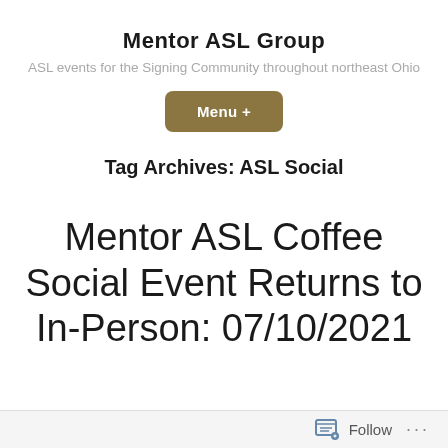Mentor ASL Group
ASL events for the Signing Community throughout northeast Ohio
Menu +
Tag Archives: ASL Social
Mentor ASL Coffee Social Event Returns to In-Person: 07/10/2021
Follow ...